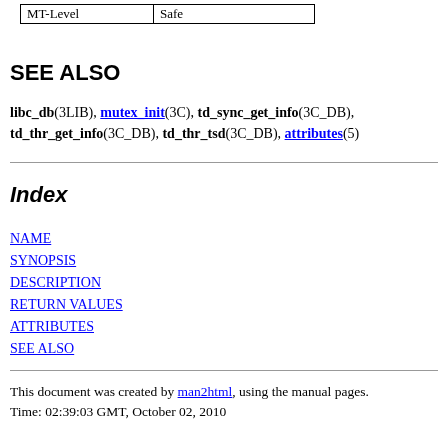| MT-Level | Safe |
SEE ALSO
libc_db(3LIB), mutex_init(3C), td_sync_get_info(3C_DB), td_thr_get_info(3C_DB), td_thr_tsd(3C_DB), attributes(5)
Index
NAME
SYNOPSIS
DESCRIPTION
RETURN VALUES
ATTRIBUTES
SEE ALSO
This document was created by man2html, using the manual pages.
Time: 02:39:03 GMT, October 02, 2010